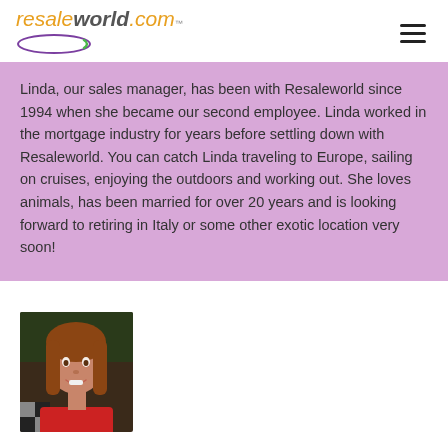resaleworld.com
Linda, our sales manager, has been with Resaleworld since 1994 when she became our second employee. Linda worked in the mortgage industry for years before settling down with Resaleworld. You can catch Linda traveling to Europe, sailing on cruises, enjoying the outdoors and working out. She loves animals, has been married for over 20 years and is looking forward to retiring in Italy or some other exotic location very soon!
[Figure (photo): Portrait photo of a woman with long auburn hair, smiling, wearing a red top, against a dark background]